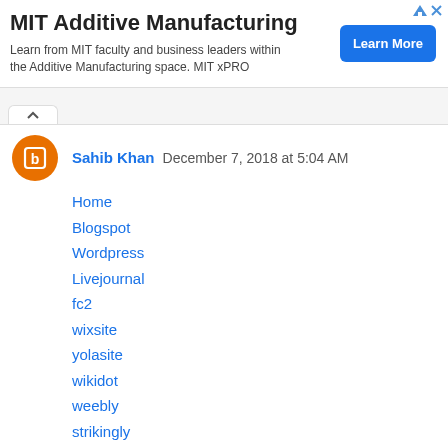[Figure (other): Advertisement banner for MIT Additive Manufacturing with Learn More button]
Sahib Khan  December 7, 2018 at 5:04 AM
Home
Blogspot
Wordpress
Livejournal
fc2
wixsite
yolasite
wikidot
weebly
strikingly
Reply
Homework Help  December 8, 2018 at 3:29 AM